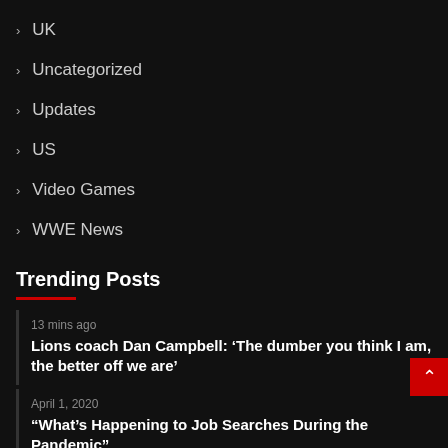UK
Uncategorized
Updates
US
Video Games
WWE News
Trending Posts
13 mins ago
Lions coach Dan Campbell: ‘The dumber you think I am, the better off we are’
April 1, 2020
“What’s Happening to Job Searches During the Pandemic”
April 1, 2020
‘Virtual whisky masterclasses’ with Forbes spirits writer and